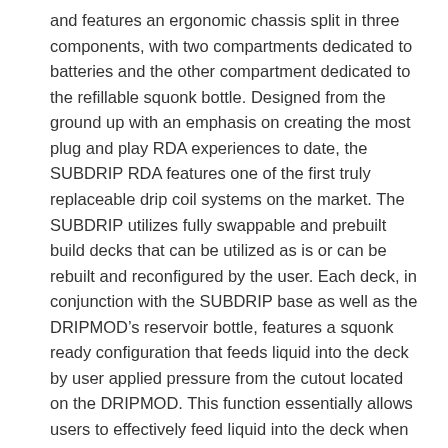and features an ergonomic chassis split in three components, with two compartments dedicated to batteries and the other compartment dedicated to the refillable squonk bottle. Designed from the ground up with an emphasis on creating the most plug and play RDA experiences to date, the SUBDRIP RDA features one of the first truly replaceable drip coil systems on the market. The SUBDRIP utilizes fully swappable and prebuilt build decks that can be utilized as is or can be rebuilt and reconfigured by the user. Each deck, in conjunction with the SUBDRIP base as well as the DRIPMOD’s reservoir bottle, features a squonk ready configuration that feeds liquid into the deck by user applied pressure from the cutout located on the DRIPMOD. This function essentially allows users to effectively feed liquid into the deck when needed, supplied by the absolutely massive 7ml refillable reservoir bottle capacity. The Kanger DRIPBOX 160W Squonk Kit is the perfect combination of power, affordability, and ease of use, making it an essential all day vape system.